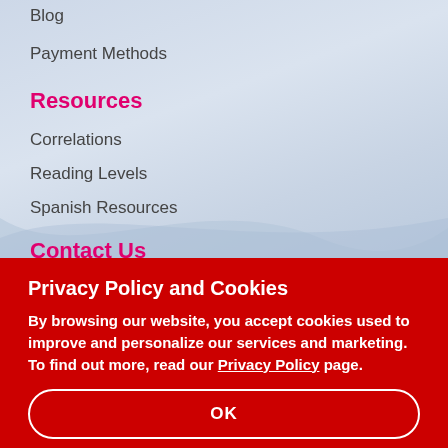Blog
Payment Methods
Resources
Correlations
Reading Levels
Spanish Resources
Contact Us
Customer Service
Privacy Policy and Cookies
By browsing our website, you accept cookies used to improve and personalize our services and marketing. To find out more, read our Privacy Policy page.